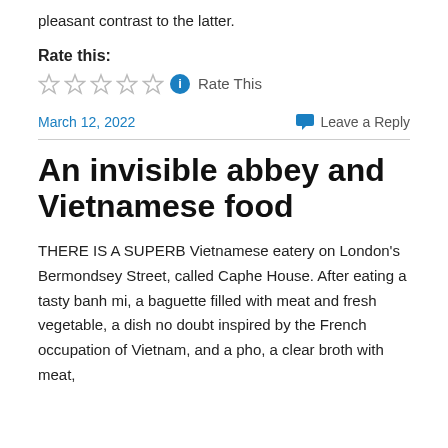pleasant contrast to the latter.
Rate this:
[Figure (other): Five empty star rating icons followed by a blue info circle icon and the text 'Rate This']
March 12, 2022
Leave a Reply
An invisible abbey and Vietnamese food
THERE IS A SUPERB Vietnamese eatery on London's Bermondsey Street, called Caphe House. After eating a tasty banh mi, a baguette filled with meat and fresh vegetable, a dish no doubt inspired by the French occupation of Vietnam, and a pho, a clear broth with meat,